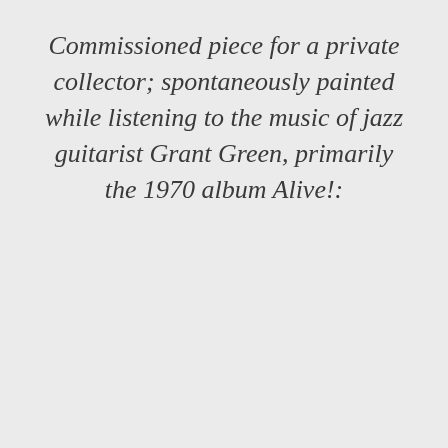Commissioned piece for a private collector; spontaneously painted while listening to the music of jazz guitarist Grant Green, primarily the 1970 album Alive!: